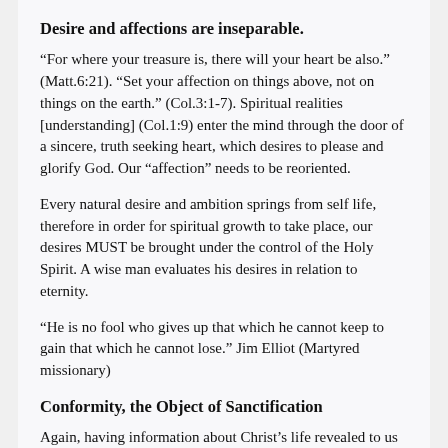Desire and affections are inseparable.
“For where your treasure is, there will your heart be also.” (Matt.6:21). “Set your affection on things above, not on things on the earth.” (Col.3:1-7). Spiritual realities [understanding] (Col.1:9) enter the mind through the door of a sincere, truth seeking heart, which desires to please and glorify God. Our “affection” needs to be reoriented.
Every natural desire and ambition springs from self life, therefore in order for spiritual growth to take place, our desires MUST be brought under the control of the Holy Spirit. A wise man evaluates his desires in relation to eternity.
“He is no fool who gives up that which he cannot keep to gain that which he cannot lose.” Jim Elliot (Martyred missionary)
Conformity, the Object of Sanctification
Again, having information about Christ’s life revealed to us is not enough…genuine Christianity is having the